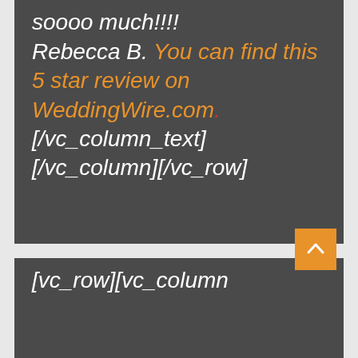soooo much!!!! Rebecca B. You can find this 5 star review on WeddingWire.com. [/vc_column_text] [/vc_column][/vc_row]
[vc_row][vc_column